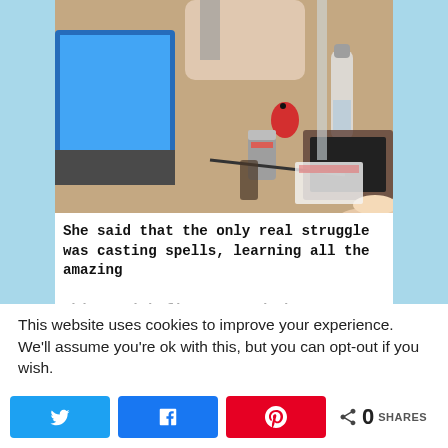[Figure (photo): People sitting around a table with laptops, drinks (water bottle, soda can), and a small red bird figurine. A person in the foreground is using a laptop on the left; another person's hands are visible on a laptop in the background right.]
She said that the only real struggle was casting spells, learning all the amazing
This website uses cookies to improve your experience. We'll assume you're ok with this, but you can opt-out if you wish.
0 SHARES